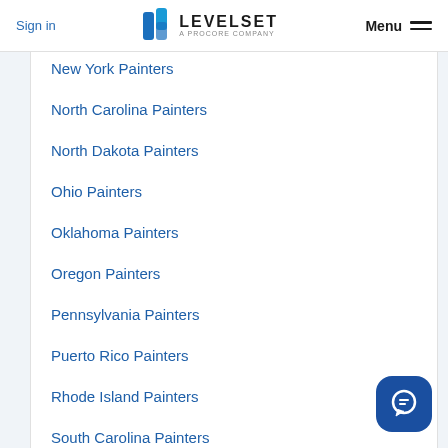Sign in | LEVELSET A PROCORE COMPANY | Menu
New York Painters
North Carolina Painters
North Dakota Painters
Ohio Painters
Oklahoma Painters
Oregon Painters
Pennsylvania Painters
Puerto Rico Painters
Rhode Island Painters
South Carolina Painters
South Dakota Painters